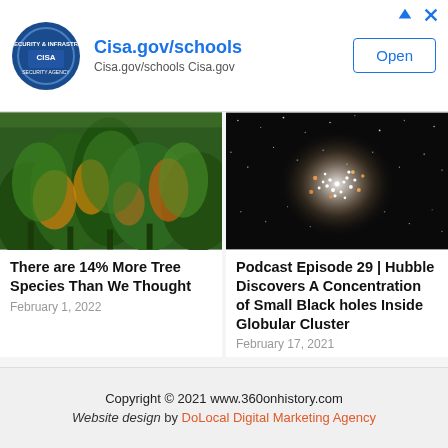[Figure (infographic): Advertisement banner for Cisa.gov/schools with CISA logo, URL text, and Open button]
[Figure (photo): Aerial photo of a dense forest with green and autumn-orange tree canopies]
There are 14% More Tree Species Than We Thought
February 1, 2022
[Figure (photo): Hubble Space Telescope image showing a dense globular cluster of stars on a dark background]
Podcast Episode 29 | Hubble Discovers A Concentration of Small Black holes Inside Globular Cluster
February 17, 2021
Copyright © 2021 www.360onhistory.com
Website design by DoLocal Digital Marketing Agency